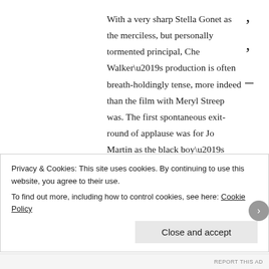With a very sharp Stella Gonet as the merciless, but personally tormented principal, Che Walker’s production is often breath-holdingly tense, more indeed than the film with Meryl Streep was. The first spontaneous exit-round of applause was for Jo Martin as the black boy’s mother, a bulwark of dignity just glad to have him “safe” in a decent school with prospects and flatly refusing to help rock the boat . The authentic voice of 1960’s minority pragmatism speaks in her shocking words “You accept what you gotta accept and you
Privacy & Cookies: This site uses cookies. By continuing to use this website, you agree to their use.
To find out more, including how to control cookies, see here: Cookie Policy
Close and accept